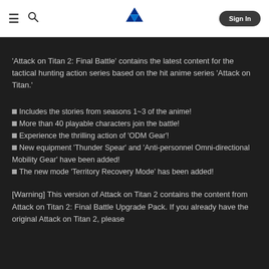PlayStation Store navigation header with hamburger menu, search icon, PlayStation logo, and Sign In button
'Attack on Titan 2: Final Battle' contains the latest content for the tactical hunting action series based on the hit anime series 'Attack on Titan.'
Includes the stories from seasons 1~3 of the anime!
More than 40 playable characters join the battle!
Experience the thrilling action of 'ODM Gear'!
New equipment 'Thunder Spear' and 'Anti-personnel Omni-directional Mobility Gear' have been added!
The new mode 'Territory Recovery Mode' has been added!
[Warning] This version of Attack on Titan 2 contains the content from Attack on Titan 2: Final Battle Upgrade Pack. If you already have the original Attack on Titan 2, please